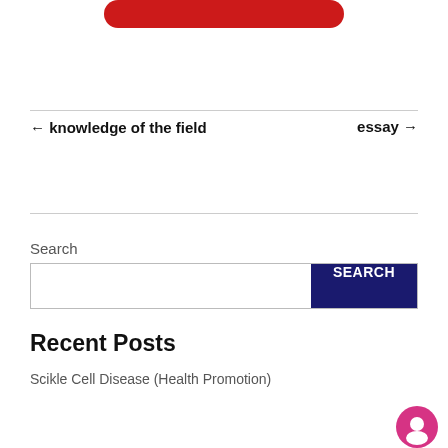[Figure (other): Red rounded button partially visible at the top of the page]
← knowledge of the field
essay →
Search
SEARCH
Recent Posts
Scikle Cell Disease (Health Promotion)
[Figure (other): Pink circular chat/support widget button in the bottom right corner]